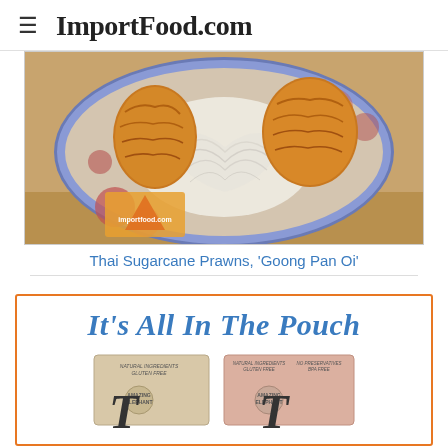ImportFood.com
[Figure (photo): Photo of Thai Sugarcane Prawns (Goong Pan Oi) on a decorative plate with glass noodles, showing fried prawn cakes on a patterned ceramic plate]
Thai Sugarcane Prawns, 'Goong Pan Oi'
[Figure (photo): Advertisement for Amazing Elephant brand products in pouches, showing two product pouches side by side with Thai food packaging design. Text reads: It's All In The Pouch]